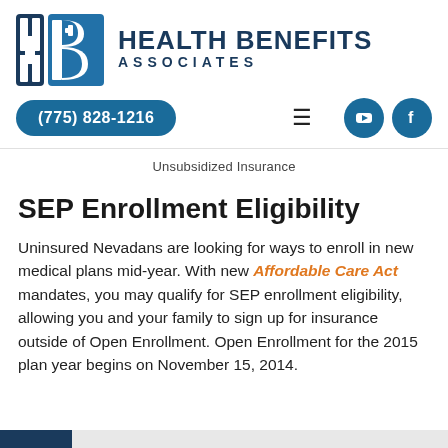[Figure (logo): Health Benefits Associates logo with H+B icon and company name]
(775) 828-1216
Unsubsidized Insurance
SEP Enrollment Eligibility
Uninsured Nevadans are looking for ways to enroll in new medical plans mid-year. With new Affordable Care Act mandates, you may qualify for SEP enrollment eligibility, allowing you and your family to sign up for insurance outside of Open Enrollment. Open Enrollment for the 2015 plan year begins on November 15, 2014.